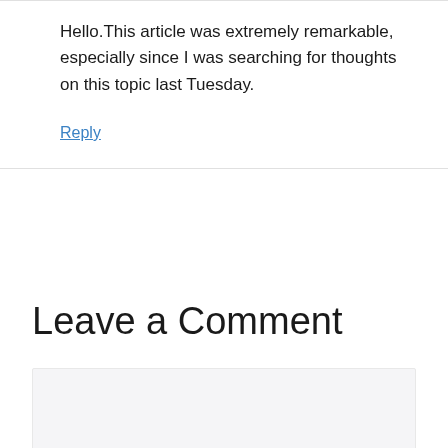Hello.This article was extremely remarkable, especially since I was searching for thoughts on this topic last Tuesday.
Reply
Leave a Comment
[Figure (other): Empty comment text input area with light gray background]